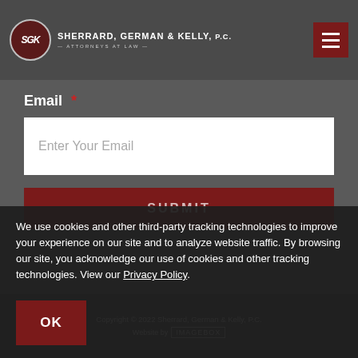Sherrard, German & Kelly, P.C. – Attorneys at Law
Email *
Enter Your Email
SUBMIT
We use cookies and other third-party tracking technologies to improve your experience on our site and to analyze website traffic. By browsing our site, you acknowledge our use of cookies and other tracking technologies. View our Privacy Policy.
OK
Copyright © 2022 Sherrard, German & Kelly, P.C. Website by IMAGEBOX